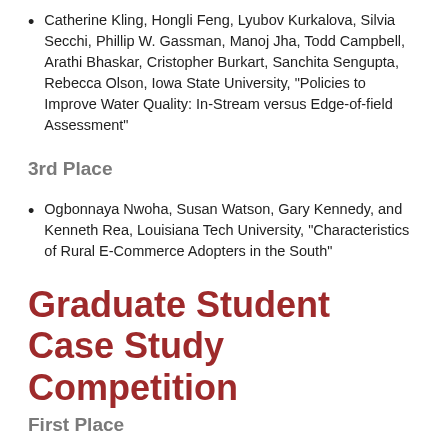Catherine Kling, Hongli Feng, Lyubov Kurkalova, Silvia Secchi, Phillip W. Gassman, Manoj Jha, Todd Campbell, Arathi Bhaskar, Cristopher Burkart, Sanchita Sengupta, Rebecca Olson, Iowa State University, “Policies to Improve Water Quality: In-Stream versus Edge-of-field Assessment”
3rd Place
Ogbonnaya Nwoha, Susan Watson, Gary Kennedy, and Kenneth Rea, Louisiana Tech University, “Characteristics of Rural E-Commerce Adopters in the South”
Graduate Student Case Study Competition
First Place